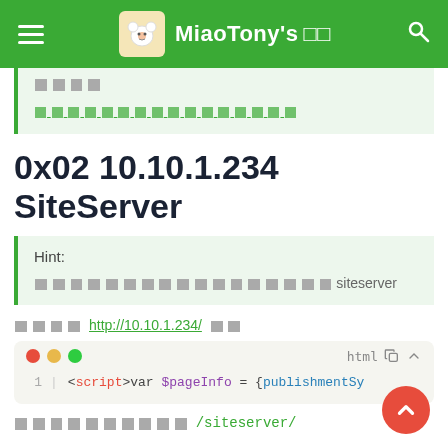MiaoTony's
[CJK characters] (link: [CJK characters])
0x02 10.10.1.234 SiteServer
Hint:
[CJK characters]siteserver
[CJK characters] http://10.10.1.234/ [CJK characters]
1  <script>var $pageInfo = {publishmentSy...
[CJK characters] /siteserver/